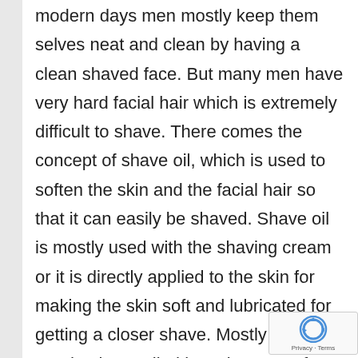modern days men mostly keep them selves neat and clean by having a clean shaved face. But many men have very hard facial hair which is extremely difficult to shave. There comes the concept of shave oil, which is used to soften the skin and the facial hair so that it can easily be shaved. Shave oil is mostly used with the shaving cream or it is directly applied to the skin for making the skin soft and lubricated for getting a closer shave. Mostly these oils need to be applied by using water for getting the proper results. These oils not only lubricate the skin but also moisturize the skin eliminating the razor burn caused due to shaving. Mostly they comprise of plant based oils or essential oils which are harmless to skin. Most of the brands are now either using plant based shave oil in their shaving creams or selling them directly as they have better lubricating effect and they cause no harm to the skin.